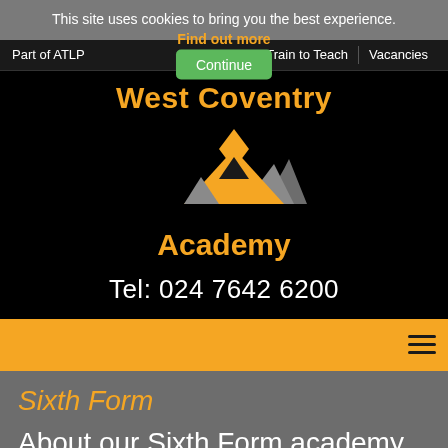This site uses cookies to bring you the best experience.
Part of ATLP | Find out more | Continue | Train to Teach | Vacancies
[Figure (logo): West Coventry Academy logo with orange and grey mountain/arrow graphic, text 'West Coventry Academy' in orange, and 'Tel: 024 7642 6200' in white]
Sixth Form
About our Sixth Form academy